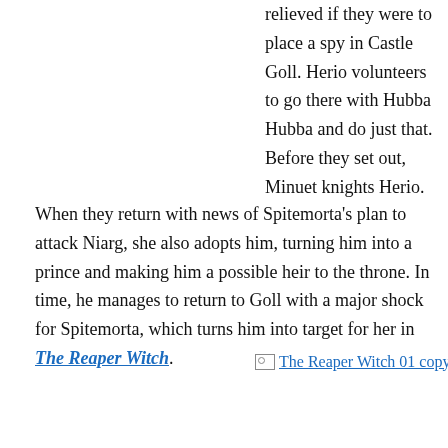relieved if they were to place a spy in Castle Goll. Herio volunteers to go there with Hubba Hubba and do just that. Before they set out, Minuet knights Herio.
When they return with news of Spitemorta's plan to attack Niarg, she also adopts him, turning him into a prince and making him a possible heir to the throne. In time, he manages to return to Goll with a major shock for Spitemorta, which turns him into target for her in The Reaper Witch.
[Figure (other): Broken image placeholder reading 'The Reaper Witch 01 copy' in blue underlined text]